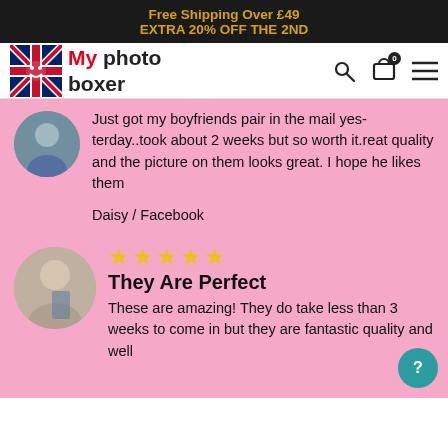Free Shipping Over £49
EXTRA 20% OFF THE 2ND
[Figure (logo): My Photo Boxer logo with UK flag icon and nav icons (search, cart, menu)]
Just got my boyfriends pair in the mail yes-terday..took about 2 weeks but so worth it.reat quality and the picture on them looks great. I hope he likes them
Daisy / Facebook
★★★★★
They Are Perfect
These are amazing! They do take less than 3 weeks to come in but they are fantastic quality and well